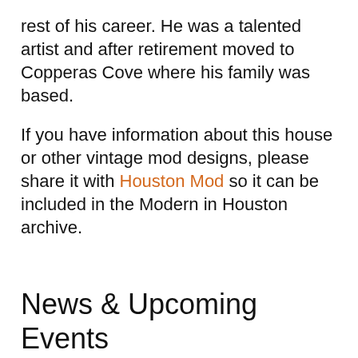rest of his career. He was a talented artist and after retirement moved to Copperas Cove where his family was based.
If you have information about this house or other vintage mod designs, please share it with Houston Mod so it can be included in the Modern in Houston archive.
News & Upcoming Events
AIA Houston Historic Resources Committee Speaker Series: Printhouse: Transforming a Blighted Property into a Community Asset on